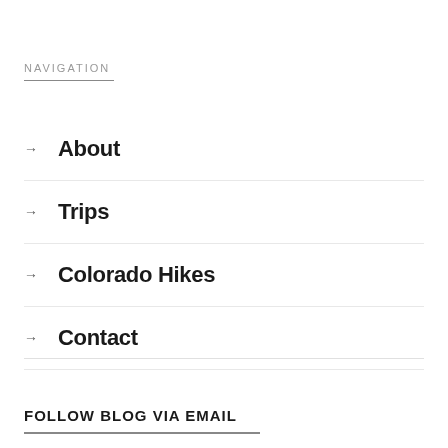NAVIGATION
About
Trips
Colorado Hikes
Contact
FOLLOW BLOG VIA EMAIL